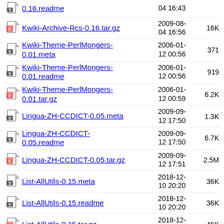0.16.readme  04 16:43
Kwiki-Archive-Rcs-0.16.tar.gz  2009-08-04 16:56  16K
Kwiki-Theme-PerlMongers-0.01.meta  2006-01-12 00:56  371
Kwiki-Theme-PerlMongers-0.01.readme  2006-01-12 00:56  919
Kwiki-Theme-PerlMongers-0.01.tar.gz  2006-01-12 00:59  6.2K
Lingua-ZH-CCDICT-0.05.meta  2009-09-12 17:50  1.3K
Lingua-ZH-CCDICT-0.05.readme  2009-09-12 17:50  6.7K
Lingua-ZH-CCDICT-0.05.tar.gz  2009-09-12 17:51  2.5M
List-AllUtils-0.15.meta  2018-12-10 20:20  36K
List-AllUtils-0.15.readme  2018-12-10 20:20  36K
List-AllUtils-0.15.tar.gz  2018-12-10 20:21  46K
List-AllUtils-0.16.meta  2020-03-01 04:14  36K